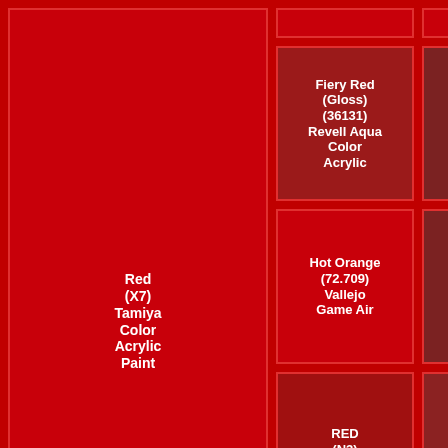| Red (X7)
Tamiya Color Acrylic Paint | Fiery Red (Gloss) (36131)
Revell Aqua Color Acrylic | fiery red (solid matt) (32131)
Revell Email Enamel | RED (A.MIG-0049)
Ammo Acrylics |
|  | Hot Orange (72.709)
Vallejo Game Air | Red (69.008)
Vallejo Mecha Color | Red (C3)
Mr. Color |
|  | RED (N3)
Acrysion | Scarlett Blood (72.106)
Vallejo Game Color | CARMINE (AK11091)
AK 3rd Gen Acrylics |
|  | Bloody Red | Signal Red (Satin) | Scarlet (Matte) |